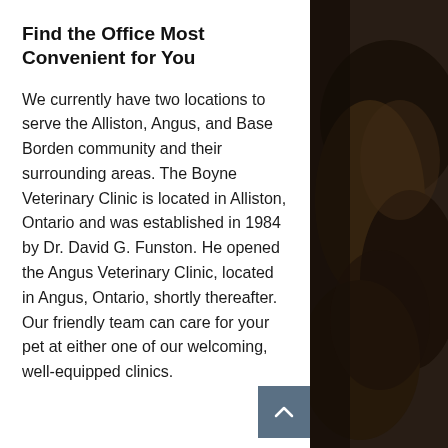Find the Office Most Convenient for You
We currently have two locations to serve the Alliston, Angus, and Base Borden community and their surrounding areas. The Boyne Veterinary Clinic is located in Alliston, Ontario and was established in 1984 by Dr. David G. Funston. He opened the Angus Veterinary Clinic, located in Angus, Ontario, shortly thereafter. Our friendly team can care for your pet at either one of our welcoming, well-equipped clinics.
[Figure (photo): Close-up photo of a dog or cat with dark fur, occupying the right side of the page, dark brownish-black tones.]